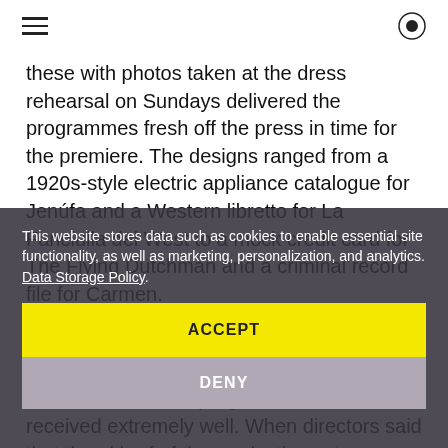≡ ⊙
these with photos taken at the dress rehearsal on Sundays delivered the programmes fresh off the press in time for the premiere. The designs ranged from a 1920s-style electric appliance catalogue for Jenúfa and a Western libretto for La Fanciulla del West to a mock credit card for The Flying Dutchman and a criminal record file for Carmen.
We were almost too successful. Whereas the first productions had to endure some harsh criticism, the programmes were received extremely well. When directors said that the al bref of the productions stage should be made to match the quality of the programmes, we were d... however ... stage.
This website stores data such as cookies to enable essential site functionality, as well as marketing, personalization, and analytics. Data Storage Policy.
ACCEPT
DENY